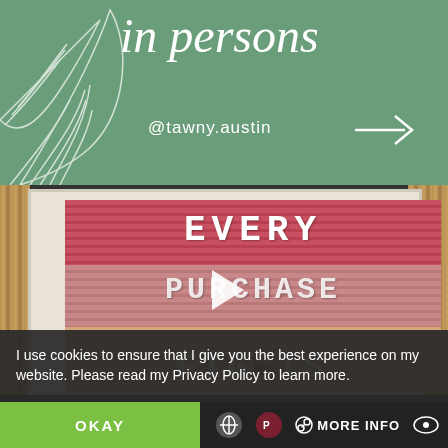[Figure (illustration): Green banner with cursive text 'in persons', @tawny.austin handle, white leaf outlines, and a right arrow]
[Figure (photo): Photo of a letter board showing 'EVERY PURCHASE FIGHTS' with gradient pink-to-yellow stripes, with a play button overlay]
I use cookies to ensure that I give you the best experience on my website. Please read my Privacy Policy to learn more.
OKAY
MORE INFO